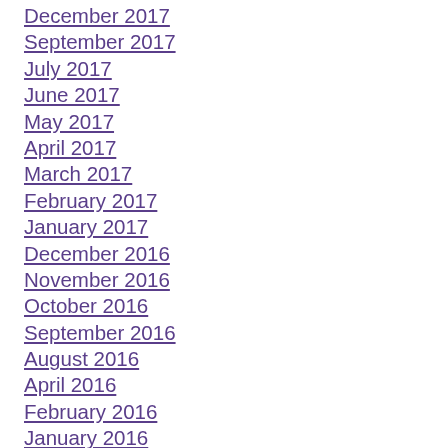December 2017
September 2017
July 2017
June 2017
May 2017
April 2017
March 2017
February 2017
January 2017
December 2016
November 2016
October 2016
September 2016
August 2016
April 2016
February 2016
January 2016
December 2015
October 2015